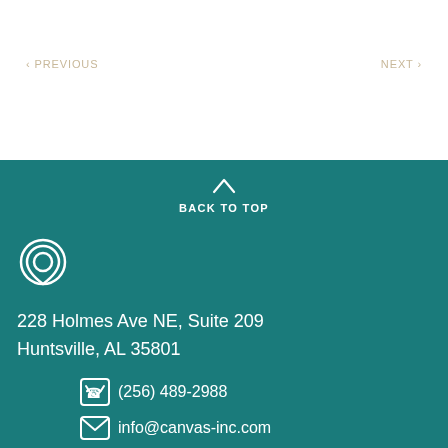< PREVIOUS    NEXT >
BACK TO TOP
228 Holmes Ave NE, Suite 209
Huntsville, AL 35801
(256) 489-2988
info@canvas-inc.com